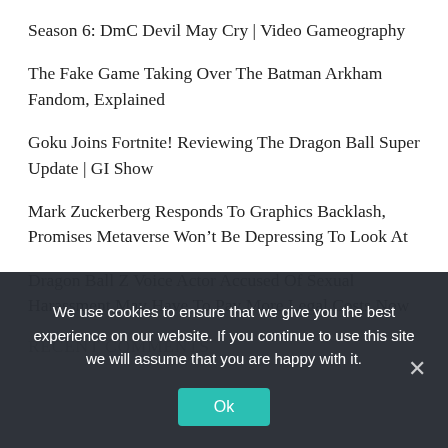Season 6: DmC Devil May Cry | Video Gameography
The Fake Game Taking Over The Batman Arkham Fandom, Explained
Goku Joins Fortnite! Reviewing The Dragon Ball Super Update | GI Show
Mark Zuckerberg Responds To Graphics Backlash, Promises Metaverse Won’t Be Depressing To Look At
Dragon Ball Z Voice Actor Accused Of Sexual Harassment May Have To Pay More Legal Costs Now
RECENT COMMENTS
We use cookies to ensure that we give you the best experience on our website. If you continue to use this site we will assume that you are happy with it.